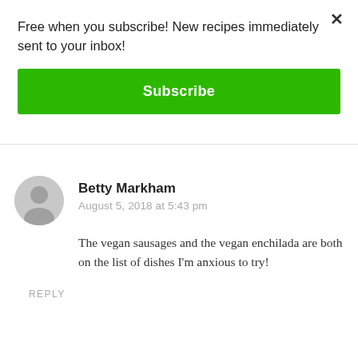Free when you subscribe! New recipes immediately sent to your inbox!
[Figure (other): Green Subscribe button]
[Figure (other): User avatar circle icon (gray silhouette)]
Betty Markham
August 5, 2018 at 5:43 pm
The vegan sausages and the vegan enchilada are both on the list of dishes I'm anxious to try!
REPLY